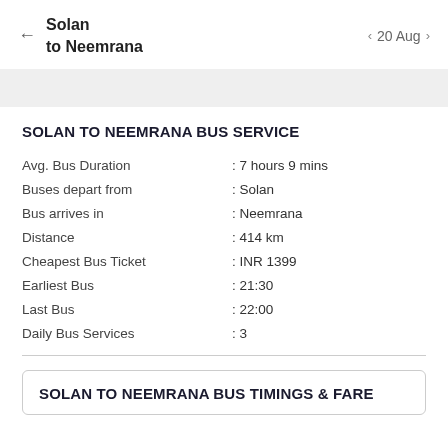← Solan to Neemrana   < 20 Aug >
SOLAN TO NEEMRANA BUS SERVICE
| Avg. Bus Duration | : 7 hours 9 mins |
| Buses depart from | : Solan |
| Bus arrives in | : Neemrana |
| Distance | : 414 km |
| Cheapest Bus Ticket | : INR 1399 |
| Earliest Bus | : 21:30 |
| Last Bus | : 22:00 |
| Daily Bus Services | : 3 |
SOLAN TO NEEMRANA BUS TIMINGS & FARE